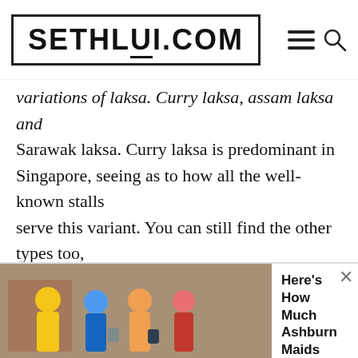SETHLUI.COM
variations of laksa. Curry laksa, assam laksa and Sarawak laksa. Curry laksa is predominant in Singapore, seeing as to how all the well-known stalls serve this variant. You can still find the other types too, albeit in lesser numbers.
[Figure (map): Google Maps screenshot showing a location pin near HomeGoods and Texas R[oad], with road 641 and a church visible]
[Figure (screenshot): Advertisement overlay: BestSelling - Our Most Popular Products - Updated Weekly! AliExpress Shop Now]
[Figure (screenshot): Bottom ad banner with image of cleaning maids and text: Here's How Much Ashburn Maids Charge To Clean A House. Cleaning Services | Search Ads | Sponsored]